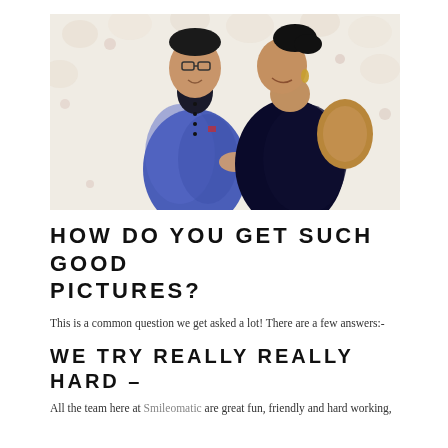[Figure (photo): A couple in Indian wedding attire posing closely together against a floral wall background. The man wears a blue embroidered sherwani and glasses; the woman wears a dark blue saree with embroidered sleeves.]
HOW DO YOU GET SUCH GOOD PICTURES?
This is a common question we get asked a lot! There are a few answers:-
WE TRY REALLY REALLY HARD –
All the team here at Smileomatic are great fun, friendly and hard working,